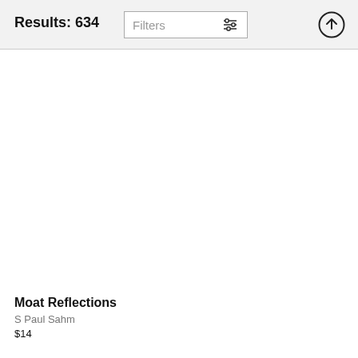Results: 634
Filters
Moat Reflections
S Paul Sahm
$14